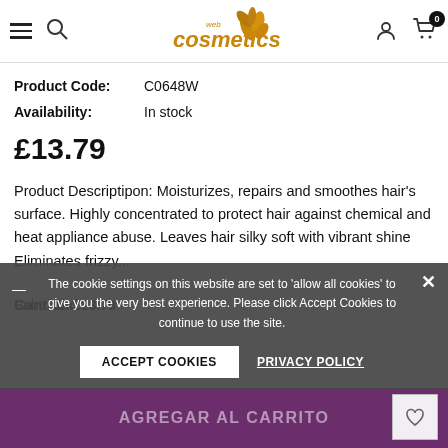[Figure (logo): Web Cosmetics logo with golden flower/leaf motif and text 'cosmetics' in orange-gold]
Product Code: C0648W
Availability: In stock
£13.79
Product Descriptipon: Moisturizes, repairs and smoothes hair's surface. Highly concentrated to protect hair against chemical and heat appliance abuse. Leaves hair silky soft with vibrant shine Eliminates frizzy...
Cantidad
Subtotal: £13.79
The cookie settings on this website are set to 'allow all cookies' to give you the very best experience. Please click Accept Cookies to continue to use the site.
ACCEPT COOKIES
PRIVACY POLICY
AGREGAR AL CARRITO